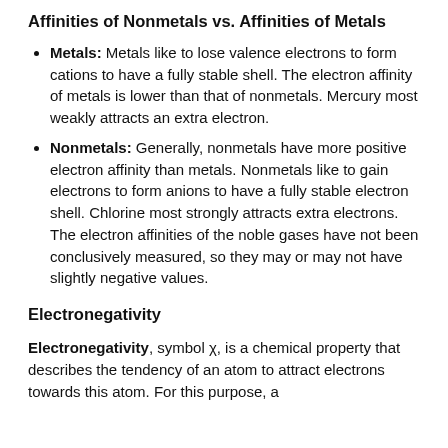Affinities of Nonmetals vs. Affinities of Metals
Metals: Metals like to lose valence electrons to form cations to have a fully stable shell. The electron affinity of metals is lower than that of nonmetals. Mercury most weakly attracts an extra electron.
Nonmetals: Generally, nonmetals have more positive electron affinity than metals. Nonmetals like to gain electrons to form anions to have a fully stable electron shell. Chlorine most strongly attracts extra electrons. The electron affinities of the noble gases have not been conclusively measured, so they may or may not have slightly negative values.
Electronegativity
Electronegativity, symbol χ, is a chemical property that describes the tendency of an atom to attract electrons towards this atom. For this purpose, a